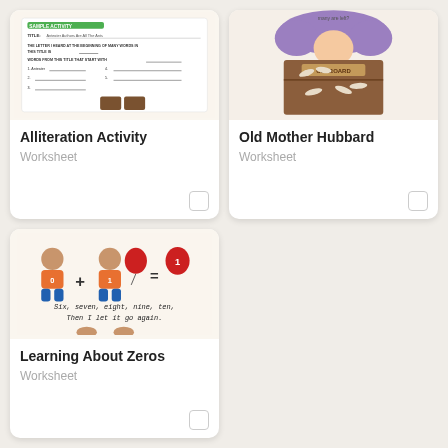[Figure (illustration): Alliteration Activity worksheet thumbnail showing a sample activity with green header bar and worksheet lines]
Alliteration Activity
Worksheet
[Figure (illustration): Old Mother Hubbard worksheet thumbnail showing a cupboard with bones illustration in purple and brown]
Old Mother Hubbard
Worksheet
[Figure (illustration): Learning About Zeros worksheet thumbnail showing cartoon children with balloons and equation 0 + 1 = 1, text reads Six, seven, eight, nine, ten, Then I let it go again.]
Learning About Zeros
Worksheet